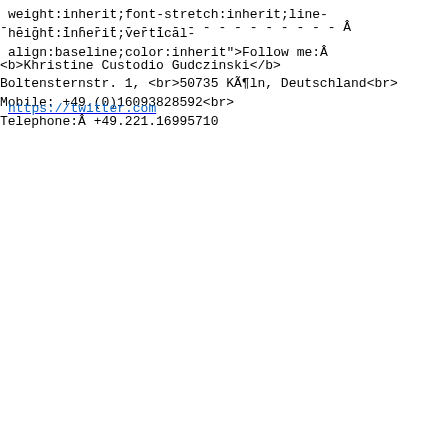weight:inherit;font-stretch:inherit;line-height:inherit;vertical-align:baseline;color:inherit">Follow me:ÃÂ  </span>
</span>
<a href="https://twitter.com/kcustodio" target="_blank" style:inherit;font-variant:inherit;font-weight:inherit;font-stretch:inherit;line-height:inherit;vertical-align:baseline">
<span style="font-style:inherit;font-variant:inherit;font-weight:inherit;font-stretch:inherit;line-height:inherit;margin:0px;padding:0px;border:0px;vertical-align:baseline;color:rgb(12,100,192)">https://twitter.com
</a></font></span></div></div></div></div><div><br>
</div>
<div>- - - - - - - - - - - - - - - - - - - - - -
ÃÂ  </div><div><br clear="all"><div>
<div dir="ltr" class="gmail_signature"><div dir="ltr">
<div><div dir="ltr"><div><div dir="ltr"><div dir="ltr">
<div dir="ltr"><div style="font-size:small">
<b>Khristine Custodio Gudczinski</b></div>
<div style="font-size:small">Boltensternstr. 1,
<br>50735 KÃ¤ln, Deutschland<br></div><div style="font-size:small">Mobile: +49.(0)16093828592<br></div>
<span style="font-size:small">Telephone:ÃÂ  </span>
<span style="font-size:small;color:rgb(0,0,0)">+49.221.16995710</span>
</div></div></div></div></div></div></div></div></div>
</div></div></div></div>